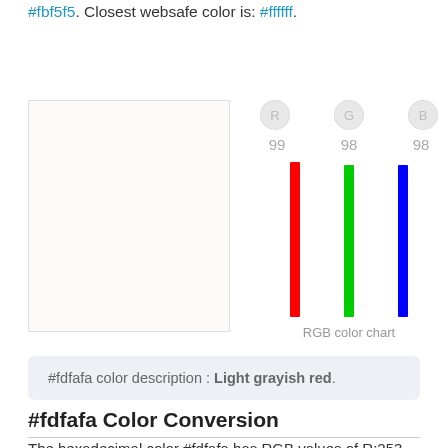#fbf5f5. Closest websafe color is: #ffffff.
[Figure (bar-chart): RGB color chart]
#fdfafa color description : Light grayish red.
#fdfafa Color Conversion
The hexadecimal color #fdfafa has RGB values of R:253,